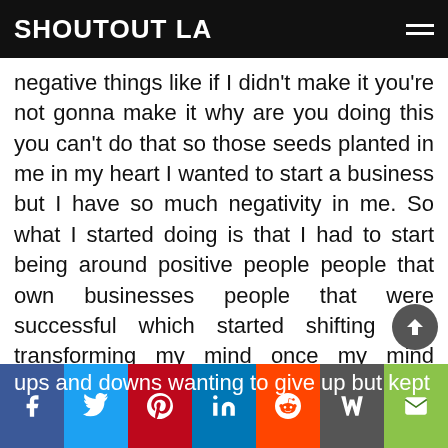SHOUTOUT LA
negative things like if I didn't make it you're not gonna make it why are you doing this you can't do that so those seeds planted in me in my heart I wanted to start a business but I have so much negativity in me. So what I started doing is that I had to start being around positive people people that own businesses people that were successful which started shifting and transforming my mind once my mind started transforming I began to take the steps to pursue my business. Even though it was scary which is OK but people have to realize you have to move through the scariness. there was many ups and downs wanting to give up but kept